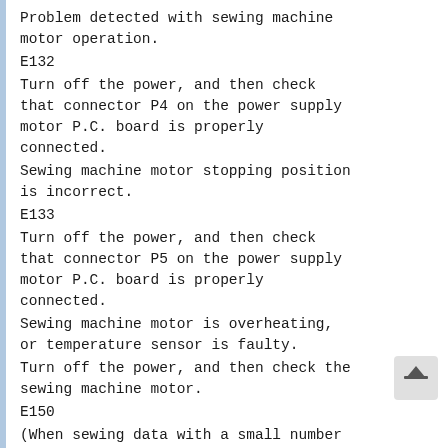Problem detected with sewing machine motor operation.
E132
Turn off the power, and then check that connector P4 on the power supply motor P.C. board is properly connected.
Sewing machine motor stopping position is incorrect.
E133
Turn off the power, and then check that connector P5 on the power supply motor P.C. board is properly connected.
Sewing machine motor is overheating, or temperature sensor is faulty.
Turn off the power, and then check the sewing machine motor.
E150
(When sewing data with a small number of stitches (15 stitches or less) is sewn repeatedly (short cycle...